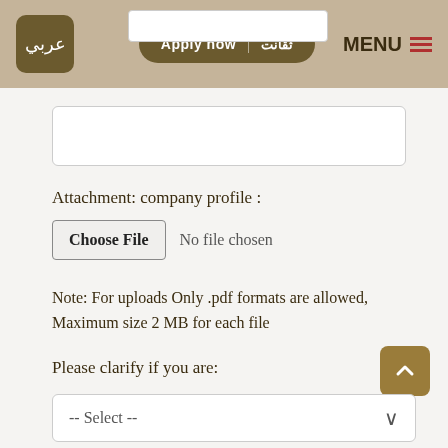[Figure (screenshot): Navigation header bar with Arabic language button, Apply now button with Arabic text, and MENU button with hamburger icon]
Attachment: company profile :
Choose File  No file chosen
Note: For uploads Only .pdf formats are allowed, Maximum size 2 MB for each file
Please clarify if you are:
-- Select --